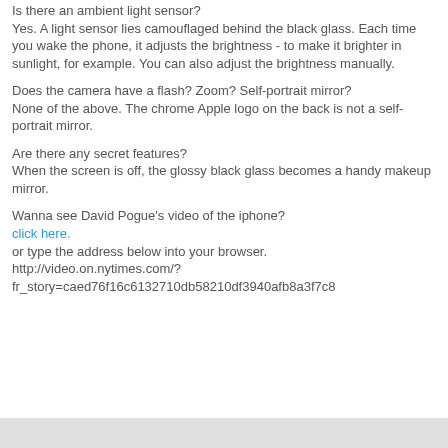Is there an ambient light sensor?
Yes. A light sensor lies camouflaged behind the black glass. Each time you wake the phone, it adjusts the brightness - to make it brighter in sunlight, for example. You can also adjust the brightness manually.
Does the camera have a flash? Zoom? Self-portrait mirror?
None of the above. The chrome Apple logo on the back is not a self-portrait mirror.
Are there any secret features?
When the screen is off, the glossy black glass becomes a handy makeup mirror.
Wanna see David Pogue's video of the iphone?
click here.
or type the address below into your browser.
http://video.on.nytimes.com/?fr_story=caed76f16c6132710db58210df3940afb8a3f7c8